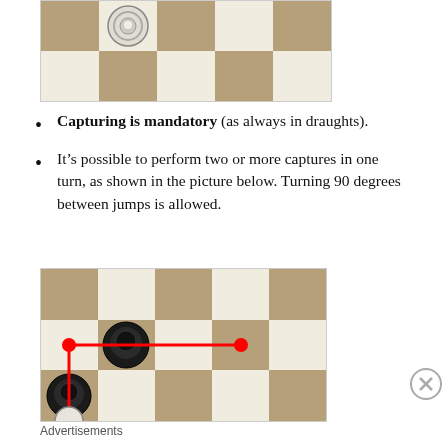[Figure (illustration): Partial checkerboard draughts board showing top row with a white king piece in the second column, tan and white squares.]
Capturing is mandatory (as always in draughts).
It's possible to perform two or more captures in one turn, as shown in the picture below. Turning 90 degrees between jumps is allowed.
[Figure (illustration): Checkerboard draughts board showing two black pieces and a white piece at bottom with red lines and red dots indicating a multi-jump capture path turning 90 degrees.]
Advertisements